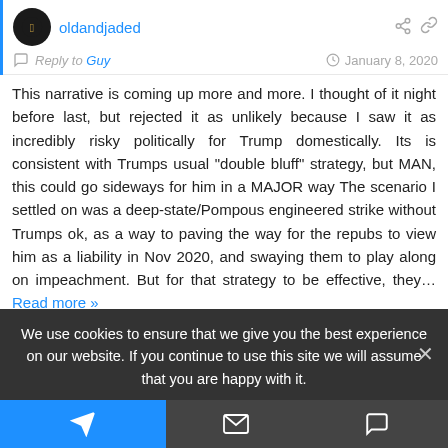oldandjaded — Reply to Guy — January 8, 2020
This narrative is coming up more and more. I thought of it night before last, but rejected it as unlikely because I saw it as incredibly risky politically for Trump domestically. Its is consistent with Trumps usual "double bluff" strategy, but MAN, this could go sideways for him in a MAJOR way The scenario I settled on was a deep-state/Pompous engineered strike without Trumps ok, as a way to paving the way for the repubs to view him as a liability in Nov 2020, and swaying them to play along on impeachment. But for that strategy to be effective, they... Read more »
We use cookies to ensure that we give you the best experience on our website. If you continue to use this site we will assume that you are happy with it.
Telegram | Email | Comment icons